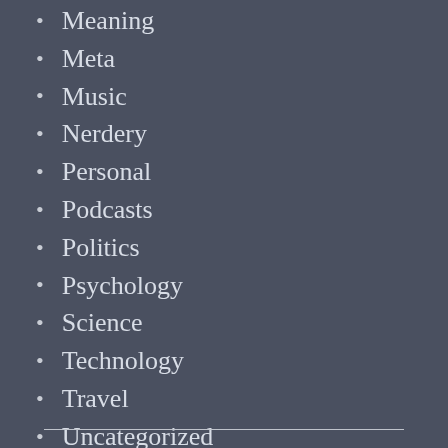Meaning
Meta
Music
Nerdery
Personal
Podcasts
Politics
Psychology
Science
Technology
Travel
Uncategorized
WordPress